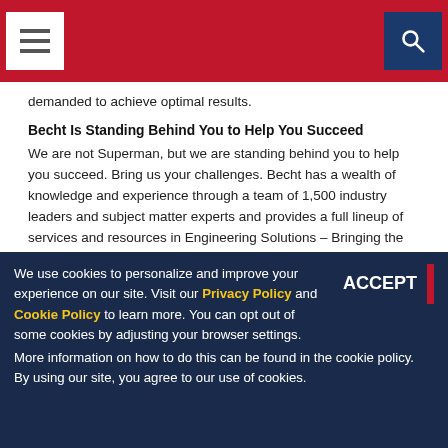Navigation bar with hamburger menu and search icon
demanded to achieve optimal results.
Becht Is Standing Behind You to Help You Succeed
We are not Superman, but we are standing behind you to help you succeed. Bring us your challenges. Becht has a wealth of knowledge and experience through a team of 1,500 industry leaders and subject matter experts and provides a full lineup of services and resources in Engineering Solutions – Bringing the Owner's Perspective, Plant Services – Delivering Expertise To The Field, Software Tools – Leveraging Technology and Human Performance – Maximising Your Workforce's Capabilities.
The Strategic Business Planning group assists clients in reviewing or improving supply chain tools like LP and scheduling / blending models, enhancing supply chain work processes, identifying and implementing asset improvement opportunities, and understanding risk impacts and economic and technical viability in volatile markets.
We use cookies to personalize and improve your experience on our site. Visit our Privacy Policy and Cookie Policy to learn more. You can opt out of some cookies by adjusting your browser settings.
More information on how to do this can be found in the cookie policy. By using our site, you agree to our use of cookies.